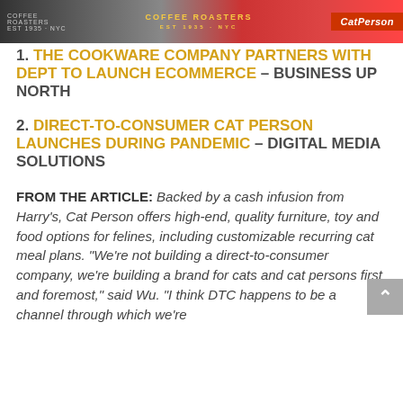[Figure (photo): Banner image showing a coffee roasters shop with Cat Person branding on the right side]
1. THE COOKWARE COMPANY PARTNERS WITH DEPT TO LAUNCH ECOMMERCE – BUSINESS UP NORTH
2. DIRECT-TO-CONSUMER CAT PERSON LAUNCHES DURING PANDEMIC – DIGITAL MEDIA SOLUTIONS
FROM THE ARTICLE: Backed by a cash infusion from Harry's, Cat Person offers high-end, quality furniture, toy and food options for felines, including customizable recurring cat meal plans. "We're not building a direct-to-consumer company, we're building a brand for cats and cat persons first and foremost," said Wu. "I think DTC happens to be a channel through which we're